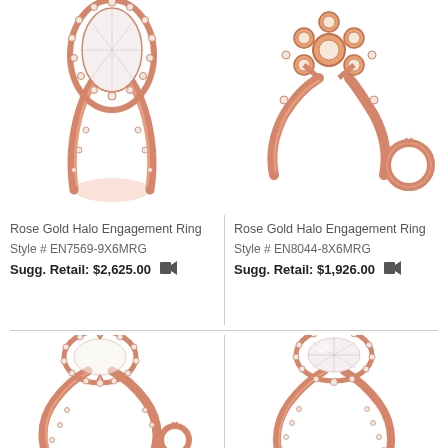[Figure (photo): Rose gold halo engagement ring with marquise/pear shaped diamond center stone and diamond halo, top-left product]
Rose Gold Halo Engagement Ring
Style # EN7569-9X6MRG
Sugg. Retail: $2,625.00
[Figure (photo): Rose gold halo engagement ring with floral/filigree design and small diamonds, shown with plain band, top-right product]
Rose Gold Halo Engagement Ring
Style # EN8044-8X6MRG
Sugg. Retail: $1,926.00
[Figure (photo): Rose gold halo engagement ring mounting/semi-mount with oval halo setting and milgrain details, bottom-left product]
[Figure (photo): Rose gold halo engagement ring with oval diamond center stone and pavé band, bottom-right product]